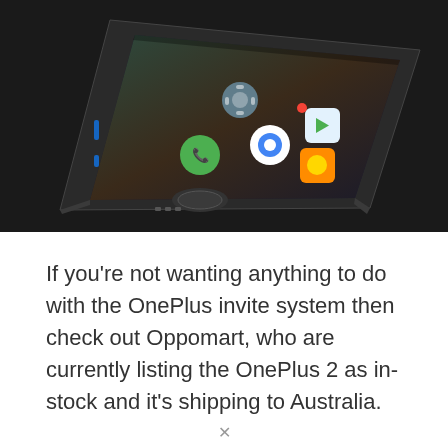[Figure (photo): Close-up product photo of a OnePlus 2 smartphone at an angle, showing the front screen with Android apps visible (phone, messaging, Play Store, Chrome, and other icons), fingerprint sensor button at the bottom, and the dark metallic body, against a dark background.]
If you’re not wanting anything to do with the OnePlus invite system then check out Oppomart, who are currently listing the OnePlus 2 as in-stock and it’s shipping to Australia.